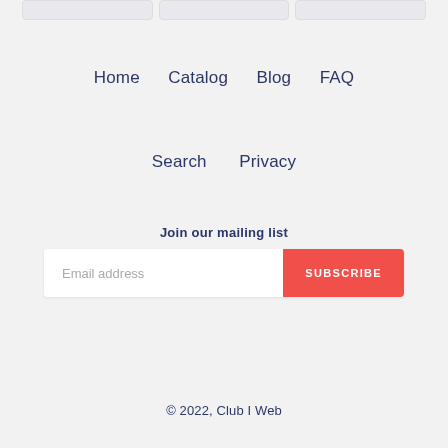[Figure (other): Three partially visible card/product stub elements at the top of the page]
Home
Catalog
Blog
FAQ
Search
Privacy
Join our mailing list
Email address
SUBSCRIBE
© 2022, Club I Web